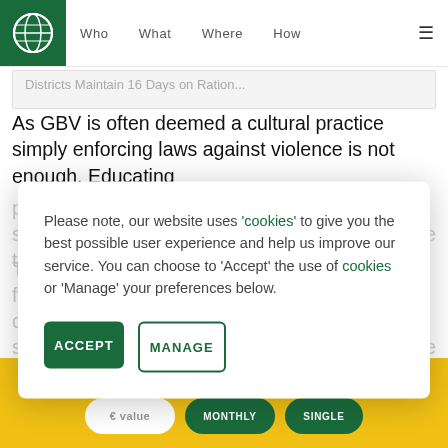Who  What  Where  How
Districts Maintain 70 Days on Ration
As GBV is often deemed a cultural practice simply enforcing laws against violence is not enough. Educating pe... su... to...
Th... fu... ov... se... m... Ov...
Please note, our website uses 'cookies' to give you the best possible user experience and help us improve our service. You can choose to 'Accept' the use of cookies or 'Manage' your preferences below.
ACCEPT
MANAGE
€ value  MONTHLY  SINGLE